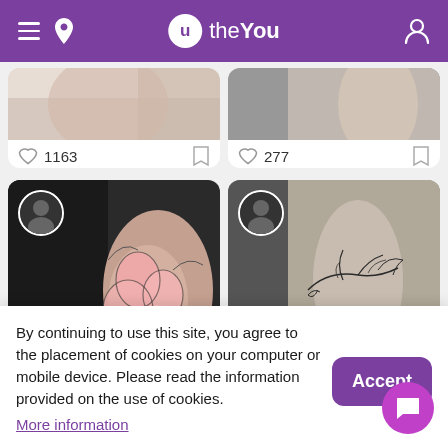[Figure (screenshot): theYou app header bar with purple background, hamburger menu, location icon, brand logo (circle u + theYou text), and profile icon]
[Figure (photo): Two tattoo photo cards partially visible at top with heart counts 1163 and 277]
[Figure (photo): Left tattoo photo card showing floral rose tattoo on arm with profile circle overlay]
[Figure (photo): Right tattoo photo card showing line-art bird/branch tattoo on arm with profile circle overlay]
By continuing to use this site, you agree to the placement of cookies on your computer or mobile device. Please read the information provided on the use of cookies.
More information
Accept